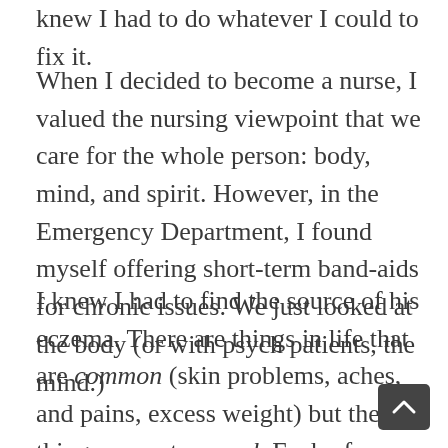knew I had to do whatever I could to fix it.
When I decided to become a nurse, I valued the nursing viewpoint that we care for the whole person: body, mind, and spirit. However, in the Emergency Department, I found myself offering short-term band-aids for chronic issues. We just looked at the body (or with psych patients, the mind.)
I knew I had to find the source of his eczema. There are things in life that are common (skin problems, aches, and pains, excess weight) but these things are not normal. Each of us was created in the image of God. Daniel was not created to have eczema. He wasn't designed to be itchy all the time. Yes, there